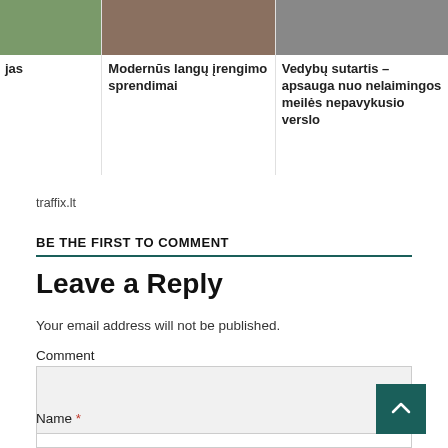[Figure (photo): Three article cards with thumbnail images. First card partial text 'jas', second card 'Modernūs langų įrengimo sprendimai', third card 'Vedybų sutartis – apsauga nuo nelaimingos meilės nepavykusio verslo']
traffix.lt
BE THE FIRST TO COMMENT
Leave a Reply
Your email address will not be published.
Comment
Name *